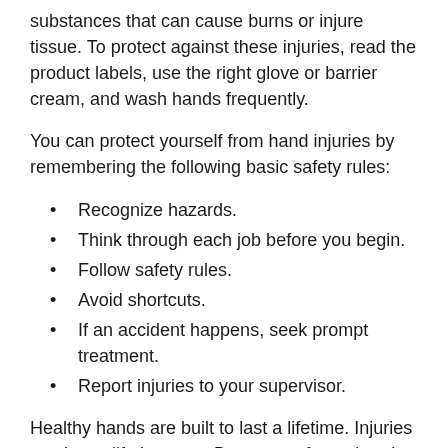substances that can cause burns or injure tissue. To protect against these injuries, read the product labels, use the right glove or barrier cream, and wash hands frequently.
You can protect yourself from hand injuries by remembering the following basic safety rules:
Recognize hazards.
Think through each job before you begin.
Follow safety rules.
Avoid shortcuts.
If an accident happens, seek prompt treatment.
Report injuries to your supervisor.
Healthy hands are built to last a lifetime. Injuries can last a lifetime, too. Be aware of your hand placement and take precautions to guard them.